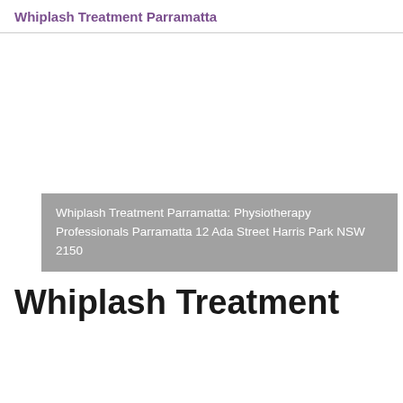Whiplash Treatment Parramatta
[Figure (photo): Large image area (mostly white/blank) with a grey overlay caption box at the bottom showing address information.]
Whiplash Treatment Parramatta: Physiotherapy Professionals Parramatta 12 Ada Street Harris Park NSW 2150
Whiplash Treatment